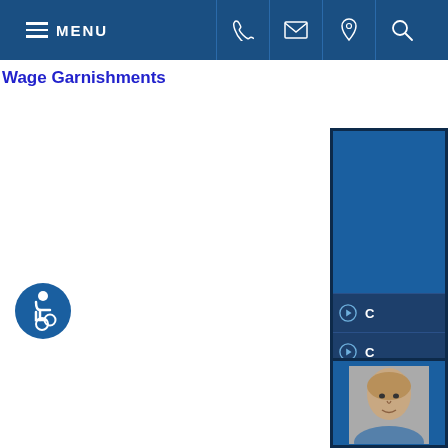MENU
Wage Garnishments
[Figure (screenshot): Right sidebar navigation panel with dark blue background showing 5 menu items each with a circle-arrow icon and partial text labels: C, C, C, F, R]
[Figure (screenshot): Bottom right photo panel showing partial view of a bald man's face against blue background]
[Figure (illustration): Wheelchair accessibility icon - blue circle with white wheelchair symbol]